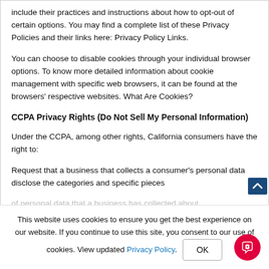include their practices and instructions about how to opt-out of certain options. You may find a complete list of these Privacy Policies and their links here: Privacy Policy Links.
You can choose to disable cookies through your individual browser options. To know more detailed information about cookie management with specific web browsers, it can be found at the browsers' respective websites. What Are Cookies?
CCPA Privacy Rights (Do Not Sell My Personal Information)
Under the CCPA, among other rights, California consumers have the right to:
Request that a business that collects a consumer's personal data disclose the categories and specific pieces of personal data that a business has collected about
This website uses cookies to ensure you get the best experience on our website. If you continue to use this site, you consent to our use of cookies. View updated Privacy Policy.